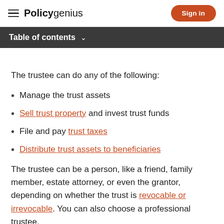Policygenius | Sign in
Table of contents
The trustee can do any of the following:
Manage the trust assets
Sell trust property and invest trust funds
File and pay trust taxes
Distribute trust assets to beneficiaries
The trustee can be a person, like a friend, family member, estate attorney, or even the grantor, depending on whether the trust is revocable or irrevocable. You can also choose a professional trustee,